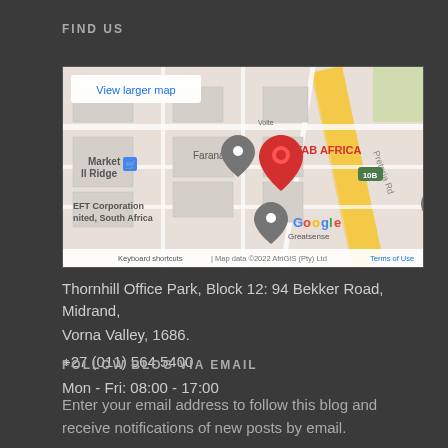FIND US
[Figure (map): Google Maps embed showing Geotab Africa location at Thornhill Office Park, Midrand. Shows map markers for Geotab Africa (red pin), Faranani, EFT Corporation United South Africa, Market II Ridge, Google Greatsense. Includes 'View larger map' button, road labels, and attribution: Keyboard shortcuts | Map data ©2022 AfriGIS (Pty) Ltd | Terms of Use]
Thornhill Office Park, Block 12: 94 Bekker Road, Midrand, Vorna Valley, 1686.
+27 (011) 564 5400
Mon - Fri: 08:00 - 17:00
FOLLOW BLOG VIA EMAIL
Enter your email address to follow this blog and receive notifications of new posts by email.